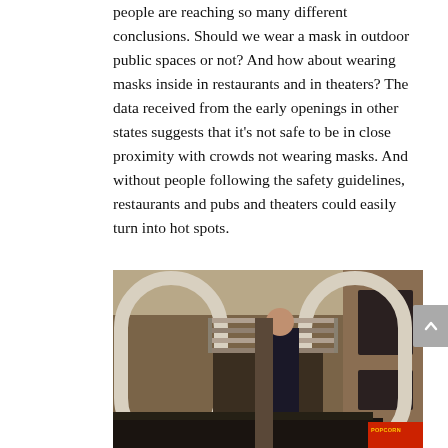people are reaching so many different conclusions. Should we wear a mask in outdoor public spaces or not? And how about wearing masks inside in restaurants and in theaters? The data received from the early openings in other states suggests that it’s not safe to be in close proximity with crowds not wearing masks. And without people following the safety guidelines, restaurants and pubs and theaters could easily turn into hot spots.
[Figure (photo): Interior of a movie theater concession area showing decorative arched facade elements in white/cream, a person working behind the counter, shelving/display rack, brown wood-paneled walls, and a POPCORN sign visible at bottom right.]